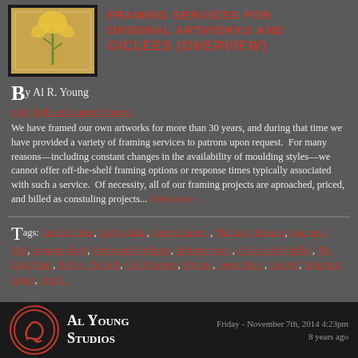[Figure (photo): Framed artwork with yellow/gold botanical illustration on tan background with dark border]
FRAMING SERVICES FOR ORIGINAL ARTWORKS AND GICLEES (OVERVIEW)
By Al R. Young
only high-end custom frames
We have framed our own artworks for more than 30 years, and during that time we have provided a variety of framing services to patrons upon request.  For many reasons—including constant changes in the availability of moulding styles—we cannot offer off-the-shelf framing options or response times typically associated with such a service.  Of necessity, all of our framing projects are aproached, priced, and billed as constuling projects...  Read more »
Tags: Into The Wee, Spring Rain, North Country, The Grey Havens, Journey's End, Looking Back, Enchanted Stillness, Bedtime Story, In The High Valley, The Daydream, Before The Bell, Old Shannon, Pavane, Sweet Brier, Legend, Mountain Home, And I...
Al Young Studios  Friday - November 7th, 2014 4:23pm  8 years ago